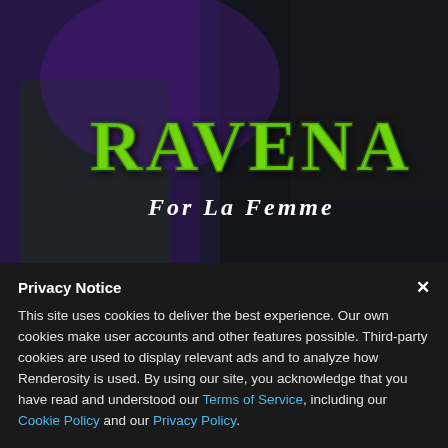[Figure (illustration): Ravena For La Femme product banner image with dark fantasy art showing a green-skinned character and stylized text 'RAVENA' in green and 'For La Femme' in white italic on a dark purple/black background]
On Oct 07, 2021 Silverwind uploaded a new marketplace product SWD Zenia.
Shop Silverwind's store here.
[Figure (photo): Partial view of next content item below]
Privacy Notice
This site uses cookies to deliver the best experience. Our own cookies make user accounts and other features possible. Third-party cookies are used to display relevant ads and to analyze how Renderosity is used. By using our site, you acknowledge that you have read and understood our Terms of Service, including our Cookie Policy and our Privacy Policy.